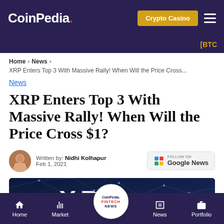CoinPedia. | Crypto Casino | ☰
[BTC
Home > News > XRP Enters Top 3 With Massive Rally! When Will the Price Cross...
News
XRP Enters Top 3 With Massive Rally! When Will the Price Cross $1?
Written by: Nidhi Kolhapur
Feb 1, 2021
[Figure (photo): XRP cryptocurrency network illustration with glowing blue polygon mesh and large XRP text logo]
Home | Market | CoinPedia FINTECH NEWS | News | Portfolio